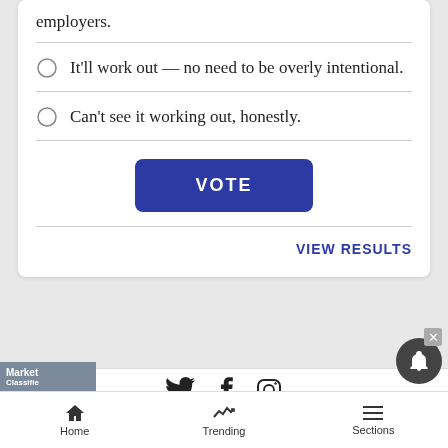employers.
It'll work out — no need to be overly intentional.
Can't see it working out, honestly.
VOTE
VIEW RESULTS
[Figure (other): Social media icons: Twitter, Facebook, Instagram]
[Figure (other): Macy's advertisement banner: KISS BORING LIPS GOODBYE, SHOP NOW]
Home   Trending   Sections